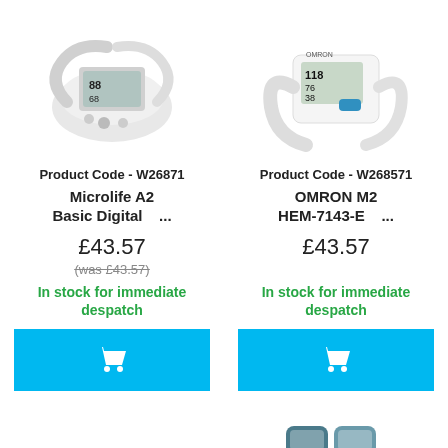[Figure (photo): Blood pressure monitor (Microlife A2 Basic Digital) product image, partially cropped at top]
[Figure (photo): Blood pressure monitor (OMRON M2 HEM-7143-E) product image, partially cropped at top]
Product Code - W26871
Product Code - W268571
Microlife A2 Basic Digital ...
OMRON M2 HEM-7143-E ...
£43.57
£43.57
(was £43.57)
In stock for immediate despatch
In stock for immediate despatch
[Figure (photo): Small medical device image at bottom right, partially visible]